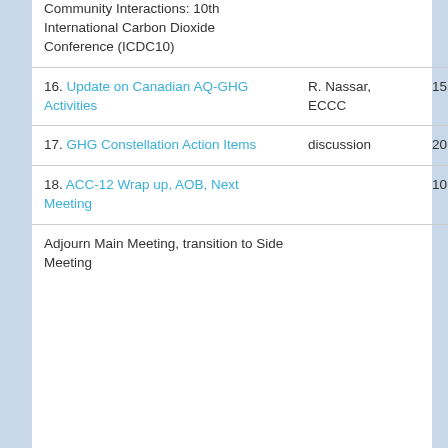| Topic | Presenter | Duration |
| --- | --- | --- |
| Community Interactions: 10th International Carbon Dioxide Conference (ICDC10) |  |  |
| 16. Update on Canadian AQ-GHG Activities | R. Nassar, ECCC | 15 min |
| 17. GHG Constellation Action Items | discussion | 20 min |
| 18. ACC-12 Wrap up, AOB, Next Meeting |  | 10 min |
| Adjourn Main Meeting, transition to Side Meeting |  |  |